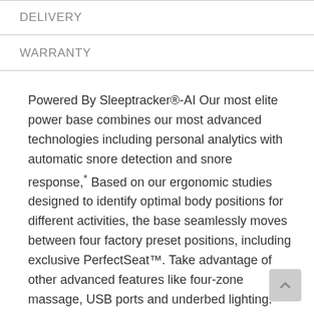DELIVERY
WARRANTY
Powered By Sleeptracker®-AI Our most elite power base combines our most advanced technologies including personal analytics with automatic snore detection and snore response,* Based on our ergonomic studies designed to identify optimal body positions for different activities, the base seamlessly moves between four factory preset positions, including exclusive PerfectSeat™. Take advantage of other advanced features like four-zone massage, USB ports and underbed lighting.